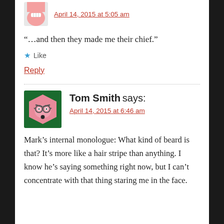[Figure (illustration): Partial avatar image at top, cropped pink/cartoon face]
April 14, 2015 at 5:05 am
“…and then they made me their chief.”
★ Like
Reply
[Figure (illustration): Tom Smith avatar: green hexagon background with angry pink cartoon face wearing glasses]
Tom Smith says:
April 14, 2015 at 6:46 am
Mark’s internal monologue: What kind of beard is that? It’s more like a hair stripe than anything. I know he’s saying something right now, but I can’t concentrate with that thing staring me in the face.